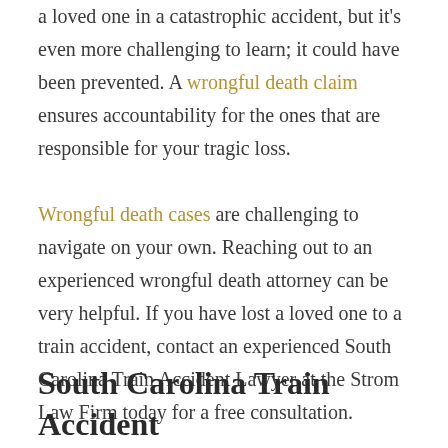a loved one in a catastrophic accident, but it's even more challenging to learn; it could have been prevented. A wrongful death claim ensures accountability for the ones that are responsible for your tragic loss.

Wrongful death cases are challenging to navigate on your own. Reaching out to an experienced wrongful death attorney can be very helpful. If you have lost a loved one to a train accident, contact an experienced South Carolina Train Accident Lawyer at the Strom Law Firm today for a free consultation.
South Carolina Train Accident